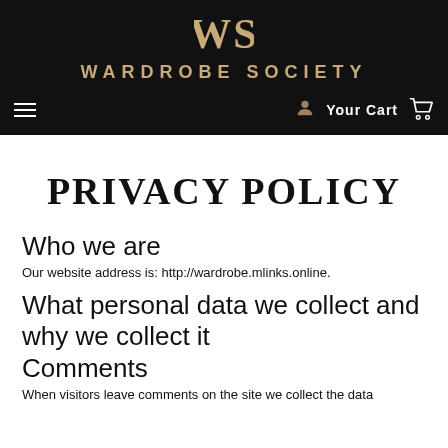[Figure (logo): Wardrobe Society logo with WS monogram and brand name in gold on black background]
Navigation bar with hamburger menu, Your Cart, and cart icon
PRIVACY POLICY
Who we are
Our website address is: http://wardrobe.mlinks.online.
What personal data we collect and why we collect it
Comments
When visitors leave comments on the site we collect the data